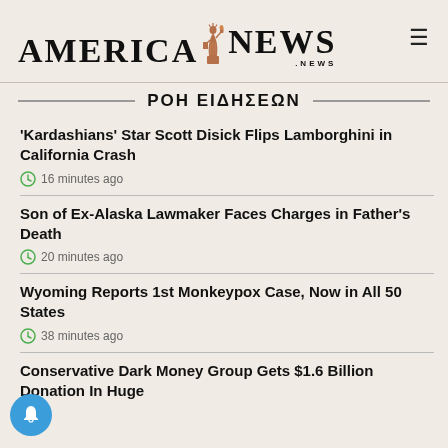AMERICA NEWS .NEWS
ΡΟΗ ΕΙΔΗΣΕΩΝ
'Kardashians' Star Scott Disick Flips Lamborghini in California Crash — 16 minutes ago
Son of Ex-Alaska Lawmaker Faces Charges in Father's Death — 20 minutes ago
Wyoming Reports 1st Monkeypox Case, Now in All 50 States — 38 minutes ago
Conservative Dark Money Group Gets $1.6 Billion Donation In Huge